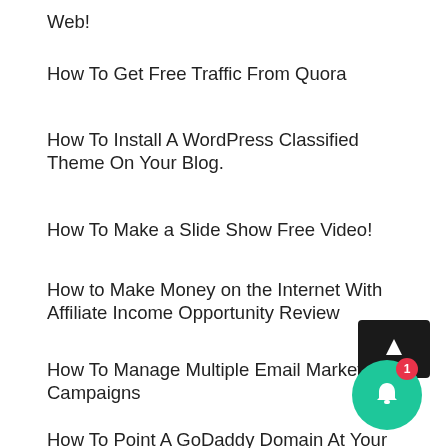Web!
How To Get Free Traffic From Quora
How To Install A WordPress Classified Theme On Your Blog.
How To Make a Slide Show Free Video!
How to Make Money on the Internet With Affiliate Income Opportunity Review
How To Manage Multiple Email Marketing Campaigns
How To Point A GoDaddy Domain At Your Hosting Account
How To Setup A Popup Optin On Your